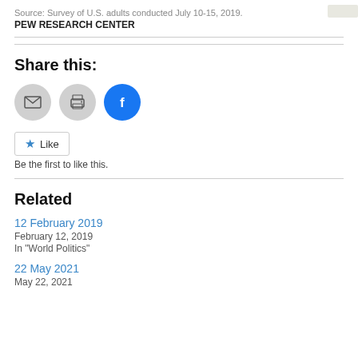Source: Survey of U.S. adults conducted July 10-15, 2019.
PEW RESEARCH CENTER
Share this:
[Figure (other): Three circular share icons: email (grey), print (grey), and Facebook (blue)]
Like
Be the first to like this.
Related
12 February 2019
February 12, 2019
In "World Politics"
22 May 2021
May 22, 2021